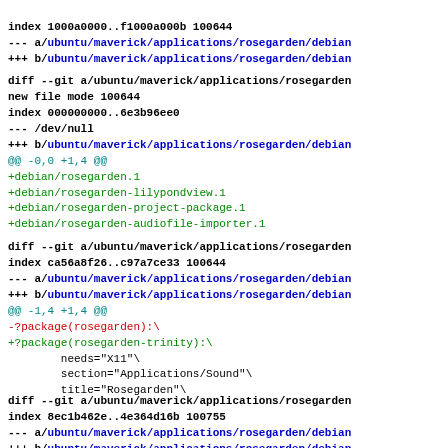index 1000a0000..f1000a000b 100644
--- a/ubuntu/maverick/applications/rosegarden/debian
+++ b/ubuntu/maverick/applications/rosegarden/debian
diff --git a/ubuntu/maverick/applications/rosegarden
new file mode 100644
index 000000000..6e3b96ee0
--- /dev/null
+++ b/ubuntu/maverick/applications/rosegarden/debian
@@ -0,0 +1,4 @@
+debian/rosegarden.1
+debian/rosegarden-lilypondview.1
+debian/rosegarden-project-package.1
+debian/rosegarden-audiofile-importer.1
diff --git a/ubuntu/maverick/applications/rosegarden
index ca56a8f26..c97a7ce33 100644
--- a/ubuntu/maverick/applications/rosegarden/debian
+++ b/ubuntu/maverick/applications/rosegarden/debian
@@ -1,4 +1,4 @@
-?package(rosegarden):\
+?package(rosegarden-trinity):\
        needs="X11"\
        section="Applications/Sound"\
        title="Rosegarden"\
diff --git a/ubuntu/maverick/applications/rosegarden
index 8ec1b462e..4e364d16b 100755
--- a/ubuntu/maverick/applications/rosegarden/debian
+++ b/ubuntu/maverick/applications/rosegarden/debian
@@ -1,13 +1,8 @@